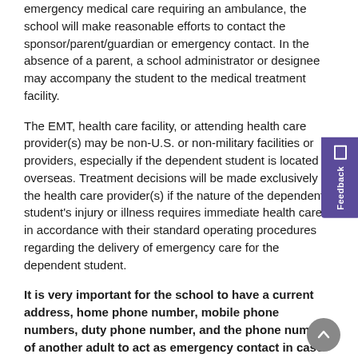emergency medical care requiring an ambulance, the school will make reasonable efforts to contact the sponsor/parent/guardian or emergency contact. In the absence of a parent, a school administrator or designee may accompany the student to the medical treatment facility.
The EMT, health care facility, or attending health care provider(s) may be non-U.S. or non-military facilities or providers, especially if the dependent student is located overseas. Treatment decisions will be made exclusively by the health care provider(s) if the nature of the dependent student's injury or illness requires immediate health care in accordance with their standard operating procedures regarding the delivery of emergency care for the dependent student.
It is very important for the school to have a current address, home phone number, mobile phone numbers, duty phone number, and the phone number of another adult to act as emergency contact in case parents cannot be contacted.
Contact your school nurse for additional information